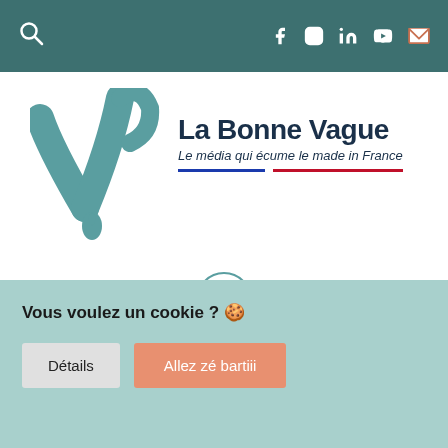La Bonne Vague — navigation bar with social icons (Facebook, Instagram, LinkedIn, YouTube, Email) and search icon
[Figure (logo): La Bonne Vague logo: teal stylized letter V with water drop, beside bold text 'La Bonne Vague' and subtitle 'Le média qui écume le made in France', with tricolor underline (blue, white, red)]
[Figure (other): Hamburger menu icon in a circle (teal outline)]
oeko text
Vous voulez un cookie ? 🍪
Détails
Allez zé bartiii